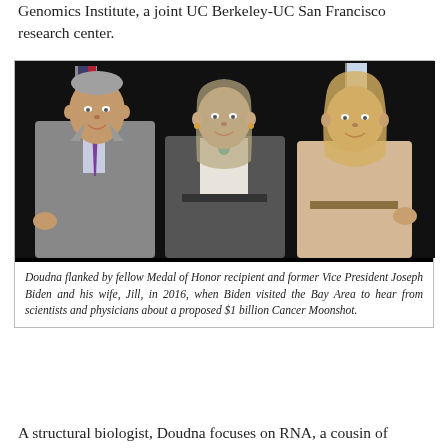Genomics Institute, a joint UC Berkeley-UC San Francisco research center.
[Figure (photo): Three people posing in front of American flags and a blue flag with a star. Left: older man in grey suit with purple tie. Center: tall woman with grey-blonde hair in dark blazer and white blouse with teal necklace. Right: blonde woman in beige/tan blazer.]
Doudna flanked by fellow Medal of Honor recipient and former Vice President Joseph Biden and his wife, Jill, in 2016, when Biden visited the Bay Area to hear from scientists and physicians about a proposed $1 billion Cancer Moonshot.
A structural biologist, Doudna focuses on RNA, a cousin of